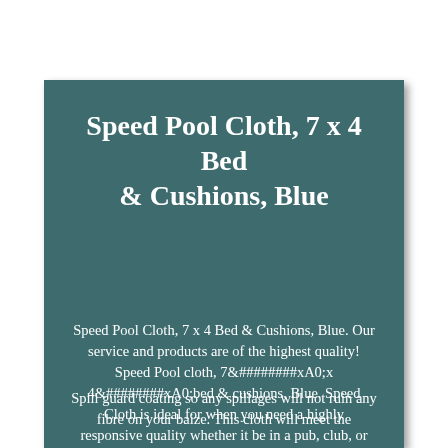Speed Pool Cloth, 7 x 4 Bed & Cushions, Blue
Speed Pool Cloth, 7 x 4 Bed & Cushions, Blue. Our service and products are of the highest quality! Speed Pool cloth, 7&#xA0;x 4&#xA0;bed & cushions, Blue. Speed Cloth is ideal for when you need a highly responsive quality whether it be in a pub, club, or home.
Spill guard coating so any spillages will not ruin any fibre on your baize. This cloth will meet the